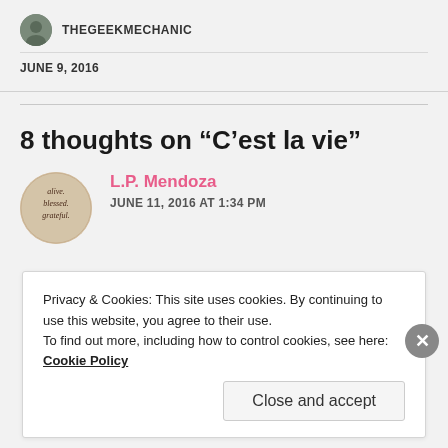THEGEEKMECHANIC
JUNE 9, 2016
8 thoughts on “C’est la vie”
L.P. Mendoza
JUNE 11, 2016 AT 1:34 PM
Privacy & Cookies: This site uses cookies. By continuing to use this website, you agree to their use.
To find out more, including how to control cookies, see here: Cookie Policy
Close and accept